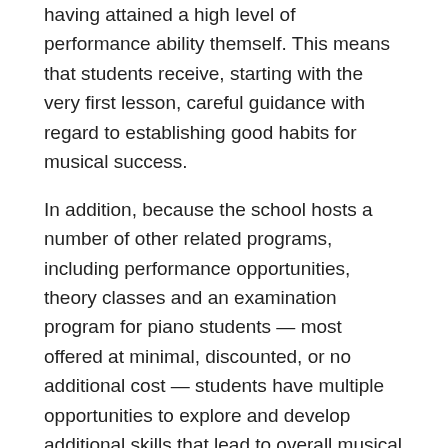having attained a high level of performance ability themself. This means that students receive, starting with the very first lesson, careful guidance with regard to establishing good habits for musical success.
In addition, because the school hosts a number of other related programs, including performance opportunities, theory classes and an examination program for piano students — most offered at minimal, discounted, or no additional cost — students have multiple opportunities to explore and develop additional skills that lead to overall musical success.
The Scoop: Answers to Some Common Questions
What can Pakachoag do for my child?